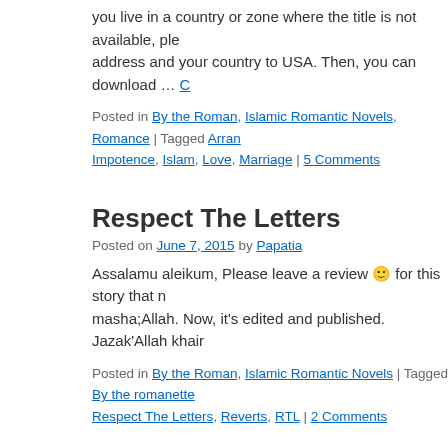you live in a country or zone where the title is not available, ple address and your country to USA. Then, you can download … C
Posted in By the Roman, Islamic Romantic Novels, Romance | Tagged Arran Impotence, Islam, Love, Marriage | 5 Comments
Respect The Letters
Posted on June 7, 2015 by Papatia
Assalamu aleikum, Please leave a review 🙂 for this story that n masha;Allah. Now, it's edited and published. Jazak'Allah khair
Posted in By the Roman, Islamic Romantic Novels | Tagged By the romanette Respect The Letters, Reverts, RTL | 2 Comments
First review of The Hazardous Life of Nilü
Posted on December 3, 2014 by Papatia
http://www.amazon.com/review/R3B6OXY2Z0MQW3/ref=cm